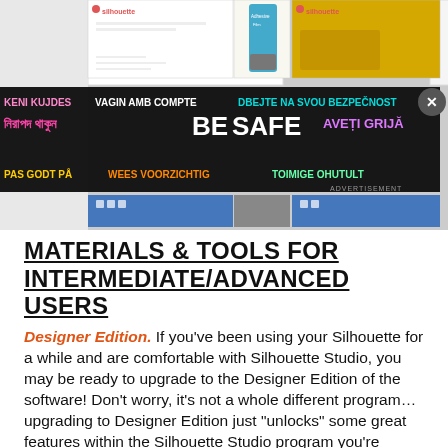[Figure (screenshot): Screenshot of Silhouette Studio app panels with a 'BE SAFE' multilingual advertisement banner overlay and a close button. The banner shows safety messages in multiple languages including Bengali, English, and others on a dark background.]
MATERIALS & TOOLS FOR INTERMEDIATE/ADVANCED USERS
Designer Edition. If you've been using your Silhouette for a while and are comfortable with Silhouette Studio, you may be ready to upgrade to the Designer Edition of the software! Don't worry, it's not a whole different program… upgrading to Designer Edition just "unlocks" some great features within the Silhouette Studio program you're already familiar with. My favorite things are the ruler, being able to erase and cut through single lines rather than entire shapes, and the ability to open SVG files. (In